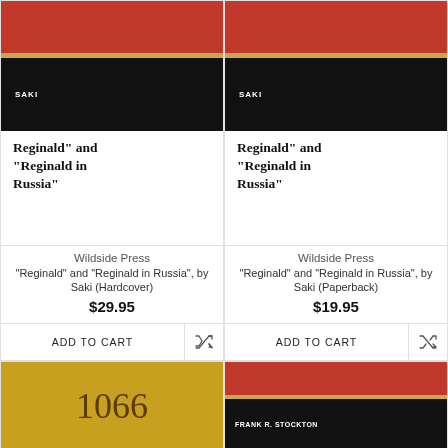[Figure (illustration): Book cover for Reginald and Reginald in Russia by Saki - Hardcover. Red top, gold stripe, black bottom with SAKI text.]
Reginald” and “Reginald in Russia”
Wildside Press
“Reginald” and “Reginald in Russia”, by Saki (Hardcover)
$29.95
ADD TO CART
[Figure (illustration): Book cover for Reginald and Reginald in Russia by Saki - Paperback. Red top, gold stripe, black bottom with SAKI text.]
Reginald” and “Reginald in Russia”
Wildside Press
“Reginald” and “Reginald in Russia”, by Saki (Paperback)
$19.95
ADD TO CART
[Figure (illustration): Book cover with gold/yellow background showing 1066 in decorative font]
[Figure (illustration): Book cover - red top, gold stripe, black bottom with FRANK R. STOCKTON text]